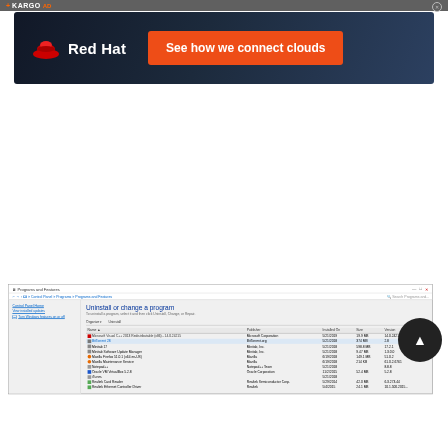[Figure (screenshot): KARGO AD label bar at the top with orange plus sign and close button]
[Figure (photo): Red Hat advertisement banner with dark blue gradient background, Red Hat logo on left and orange 'See how we connect clouds' CTA button]
[Figure (screenshot): Windows Programs and Features control panel dialog showing a list of installed programs including Microsoft Visual C++, BitTorrent, Minitab, Minitab Software Update Manager, Mozilla Firefox, Mozilla Maintenance Service, Notepad++, Oracle VM VirtualBox, iTunes, Realtek Card Reader, Realtek Ethernet Controller Driver and others with columns for Publisher, Installed On, Size, Version]
[Figure (other): Dark circular play/record button overlay in bottom right area]